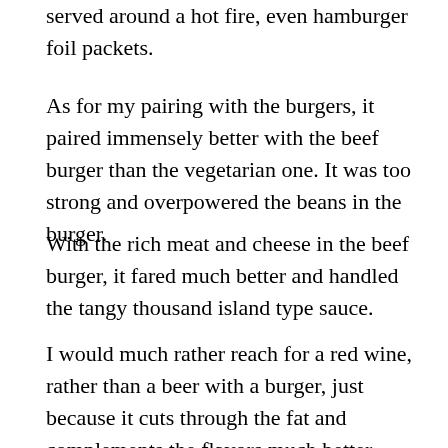served around a hot fire, even hamburger foil packets.
As for my pairing with the burgers, it paired immensely better with the beef burger than the vegetarian one. It was too strong and overpowered the beans in the burger.
With the rich meat and cheese in the beef burger, it fared much better and handled the tangy thousand island type sauce.
I would much rather reach for a red wine, rather than a beer with a burger, just because it cuts through the fat and complements the flavors much better.